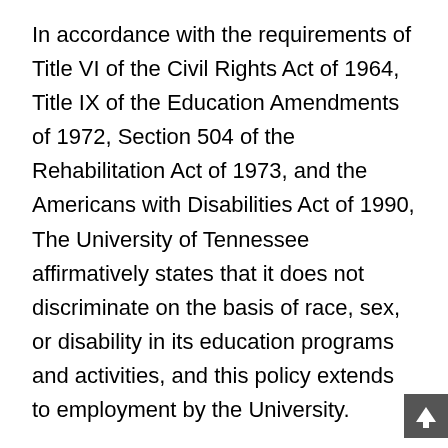In accordance with the requirements of Title VI of the Civil Rights Act of 1964, Title IX of the Education Amendments of 1972, Section 504 of the Rehabilitation Act of 1973, and the Americans with Disabilities Act of 1990, The University of Tennessee affirmatively states that it does not discriminate on the basis of race, sex, or disability in its education programs and activities, and this policy extends to employment by the University.
Inquiries and charges of violation of Title VI (race, color, national origin), Title IX (sex), Section 504 (disability), ADA (disability), Age Discrimination in Employment Act (age), sexual orientation, or veteran status should be directed to the Office of Equity and Diversity (OED), 1840 Melrose Avenue, Knoxville, TN 37996-3560, telephone (865) 974-2498. Requests for accommodation of a disability should